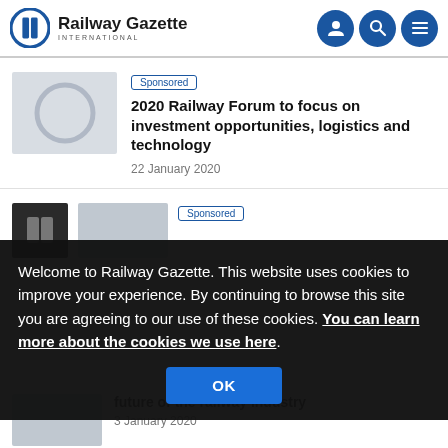Railway Gazette INTERNATIONAL
Sponsored
2020 Railway Forum to focus on investment opportunities, logistics and technology
22 January 2020
Sponsored
Welcome to Railway Gazette. This website uses cookies to improve your experience. By continuing to browse this site you are agreeing to our use of these cookies. You can learn more about the cookies we use here.
OK
future of the railway industry
3 January 2020